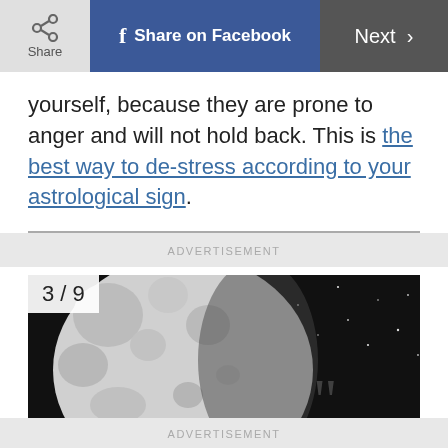Share | Share on Facebook | Next >
yourself, because they are prone to anger and will not hold back. This is the best way to de-stress according to your astrological sign.
[Figure (photo): Black and white photo of the moon against a starry night sky, with label '3/9' in top left corner]
ADVERTISEMENT